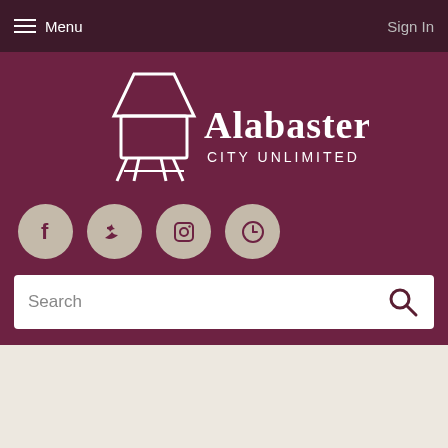Menu  Sign In
[Figure (logo): Alabaster City Unlimited logo with water tower icon, white text on dark maroon background]
[Figure (infographic): Social media icons row: Facebook, Twitter, Instagram, Clock/History — circular beige/tan buttons on maroon background]
Search